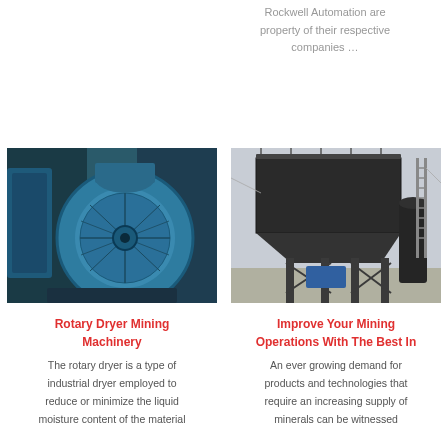Rockwell Automation are property of their respective companies …
[Figure (photo): Blue industrial rotary dryer motor/pump machinery in an industrial setting]
[Figure (photo): Large black industrial dust collector or filtration structure on metal supports with a blue container at ground level]
Rotary Dryer Mining Machinery
Improve Your Mining Operations With The Best In
The rotary dryer is a type of industrial dryer employed to reduce or minimize the liquid moisture content of the material
An ever growing demand for products and technologies that require an increasing supply of minerals can be witnessed